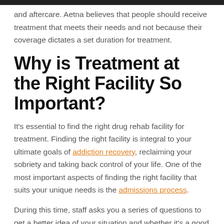and aftercare. Aetna believes that people should receive treatment that meets their needs and not because their coverage dictates a set duration for treatment.
Why is Treatment at the Right Facility So Important?
It’s essential to find the right drug rehab facility for treatment. Finding the right facility is integral to your ultimate goals of addiction recovery, reclaiming your sobriety and taking back control of your life. One of the most important aspects of finding the right facility that suits your unique needs is the admissions process.
During this time, staff asks you a series of questions to get a better idea of your situation and whether it’s a good mutual